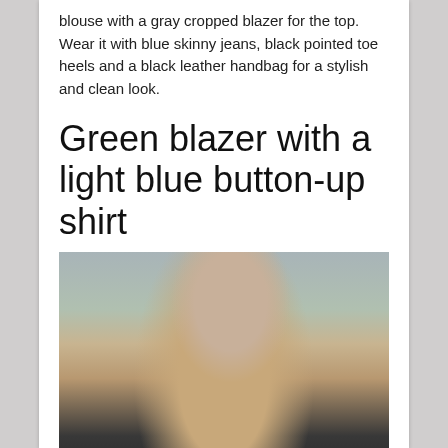blouse with a gray cropped blazer for the top. Wear it with blue skinny jeans, black pointed toe heels and a black leather handbag for a stylish and clean look.
Green blazer with a light blue button-up shirt
[Figure (photo): A woman with long brown hair wearing sunglasses, a camel/tan blazer over a white button-up shirt and dark jeans, standing outdoors near a stone wall and trees.]